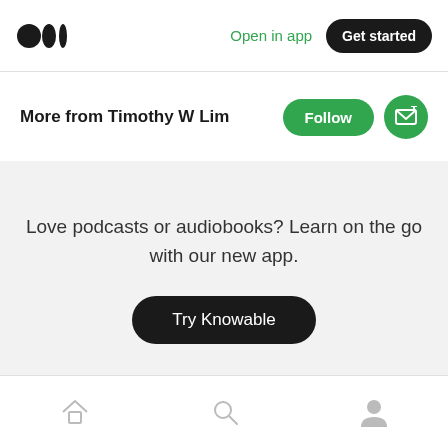Open in app  Get started
More from Timothy W Lim
Love podcasts or audiobooks? Learn on the go with our new app.
Try Knowable
Home  Search  Profile